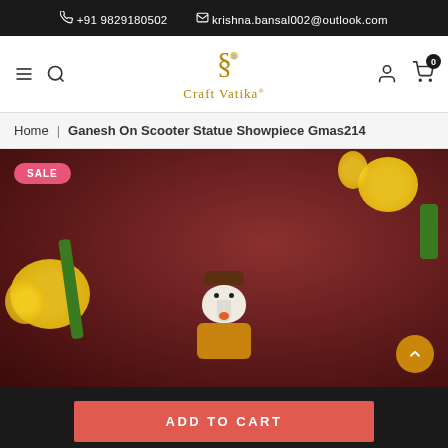+91 9829180502  krishna.bansal002@outlook.com
[Figure (logo): Craft Vatika logo with Ganesha glyph and stylized text]
Home | Ganesh On Scooter Statue Showpiece Gmas214
[Figure (photo): Ganesh on scooter statue showpiece with yellow flowers on dark red background. SALE badge on top left. Scroll-up button on bottom right.]
ADD TO CART